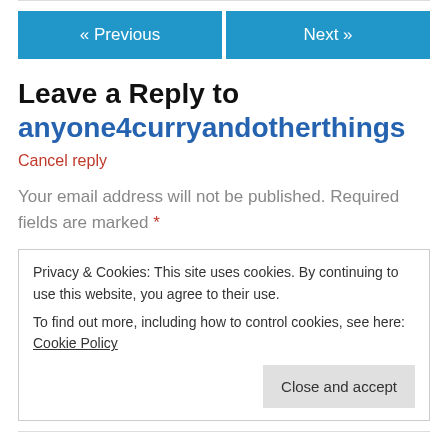[Figure (screenshot): Navigation buttons: « Previous (blue) and Next » (blue)]
Leave a Reply to anyone4curryandotherthings
Cancel reply
Your email address will not be published. Required fields are marked *
Privacy & Cookies: This site uses cookies. By continuing to use this website, you agree to their use.
To find out more, including how to control cookies, see here: Cookie Policy
Close and accept